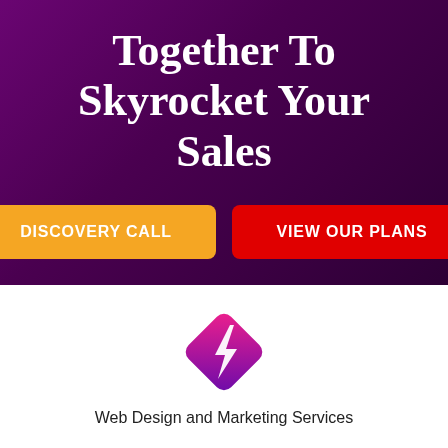Together To Skyrocket Your Sales
DISCOVERY CALL
VIEW OUR PLANS
[Figure (logo): Diamond-shaped logo with a lightning bolt, pink-to-purple gradient]
Web Design and Marketing Services